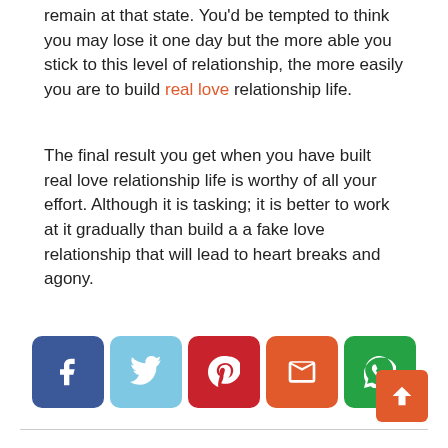remain at that state. You'd be tempted to think you may lose it one day but the more able you stick to this level of relationship, the more easily you are to build real love relationship life.
The final result you get when you have built real love relationship life is worthy of all your effort. Although it is tasking; it is better to work at it gradually than build a a fake love relationship that will lead to heart breaks and agony.
[Figure (infographic): Social share buttons: Facebook (dark blue), Twitter (light blue), Pinterest (red), Email (orange-red), WhatsApp (green)]
[Figure (other): Back to top button (orange-red arrow up)]